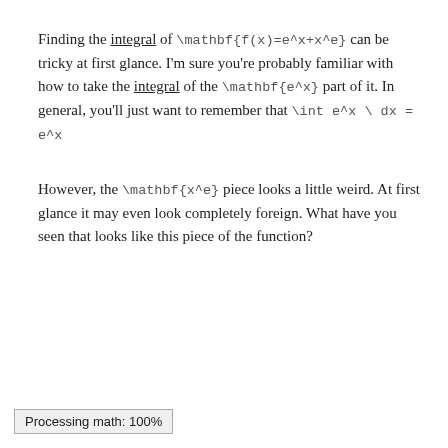Finding the integral of \mathbf{f(x)=e^x+x^e} can be tricky at first glance. I'm sure you're probably familiar with how to take the integral of the \mathbf{e^x} part of it. In general, you'll just want to remember that \int e^x \ dx = e^x
However, the \mathbf{x^e} piece looks a little weird. At first glance it may even look completely foreign. What have you seen that looks like this piece of the function?
Processing math: 100%